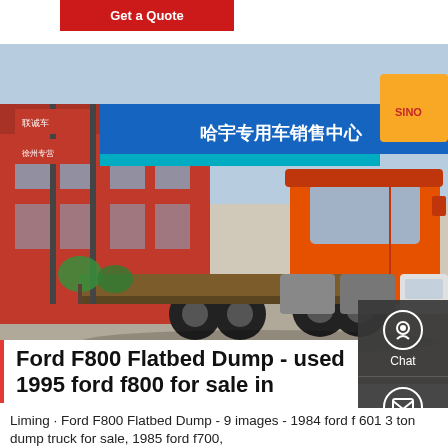Get a Quote
[Figure (photo): Orange HOWO semi-truck tractor parked in front of a Chinese truck dealership with red and blue signage and Chinese characters.]
Ford F800 Flatbed Dump - used 1995 ford f800 for sale in
Liming · Ford F800 Flatbed Dump - 9 images - 1984 ford f 601 3 ton dump truck for sale, 1985 ford f700,